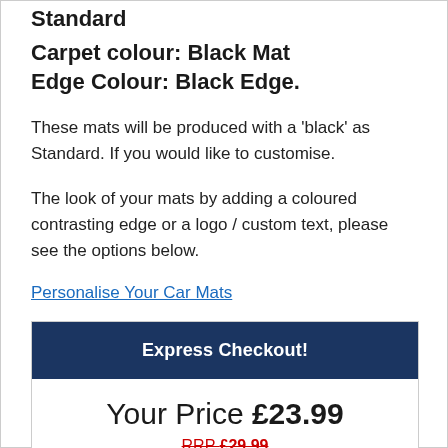Standard
Carpet colour: Black Mat
Edge Colour: Black Edge.
These mats will be produced with a 'black' as Standard. If you would like to customise.
The look of your mats by adding a coloured contrasting edge or a logo / custom text, please see the options below.
Personalise Your Car Mats
Express Checkout!
Your Price £23.99
RRP £29.99